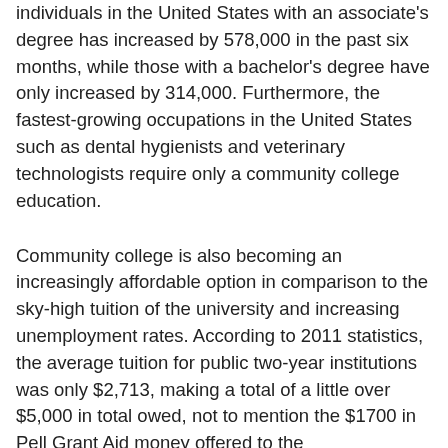individuals in the United States with an associate's degree has increased by 578,000 in the past six months, while those with a bachelor's degree have only increased by 314,000. Furthermore, the fastest-growing occupations in the United States such as dental hygienists and veterinary technologists require only a community college education.
Community college is also becoming an increasingly affordable option in comparison to the sky-high tuition of the university and increasing unemployment rates. According to 2011 statistics, the average tuition for public two-year institutions was only $2,713, making a total of a little over $5,000 in total owed, not to mention the $1700 in Pell Grant Aid money offered to the